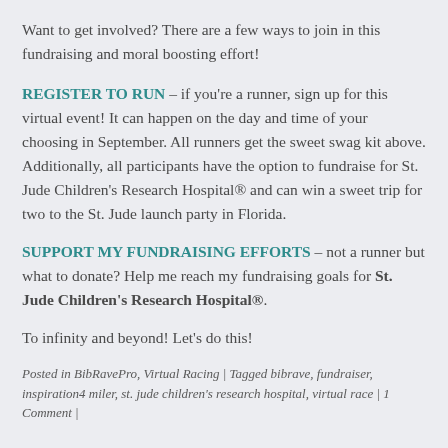Want to get involved? There are a few ways to join in this fundraising and moral boosting effort!
REGISTER TO RUN – if you're a runner, sign up for this virtual event! It can happen on the day and time of your choosing in September. All runners get the sweet swag kit above. Additionally, all participants have the option to fundraise for St. Jude Children's Research Hospital® and can win a sweet trip for two to the St. Jude launch party in Florida.
SUPPORT MY FUNDRAISING EFFORTS – not a runner but what to donate? Help me reach my fundraising goals for St. Jude Children's Research Hospital®.
To infinity and beyond! Let's do this!
Posted in BibRavePro, Virtual Racing | Tagged bibrave, fundraiser, inspiration4 miler, st. jude children's research hospital, virtual race | 1 Comment |
Run to Escape – Mission Mt. Olympus